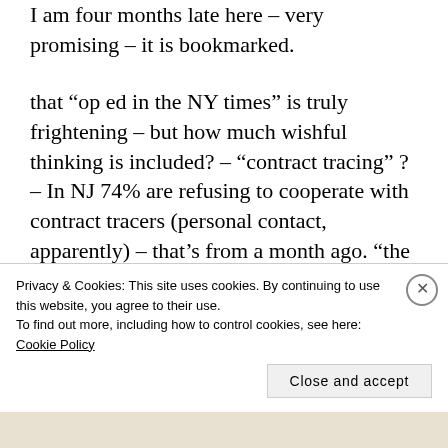I am four months late here – very promising – it is bookmarked.
that “op ed in the NY times” is truly frightening – but how much wishful thinking is included? – “contract tracing” ? – In NJ 74% are refusing to cooperate with contract tracers (personal contact, apparently) – that’s from a month ago. “the government should issue” ? – what government? – states do lockdowns FL TX AL and some others have
Privacy & Cookies: This site uses cookies. By continuing to use this website, you agree to their use.
To find out more, including how to control cookies, see here: Cookie Policy
Close and accept